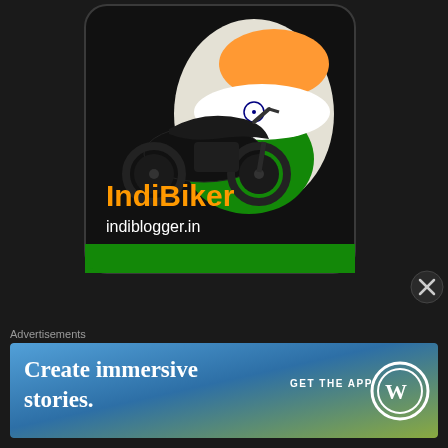[Figure (logo): IndiBiker badge from indiblogger.in — black rounded-square badge with a motorcycle silhouette over an India map outline in orange, white and green. Orange text 'IndiBiker' and white text 'indiblogger.in']
[Figure (logo): IndiPoet badge from indiblogger.in — blue gradient rounded-square badge with India map silhouette and ink well with quill. White italic script text 'IndiPoet' and white text 'indiblogger.in']
[Figure (other): Close/dismiss button — dark circle with white X symbol]
Advertisements
[Figure (other): WordPress advertisement banner: blue-green gradient background, white bold text 'Create immersive stories.' on left, 'GET THE APP' label and WordPress logo circle on right]